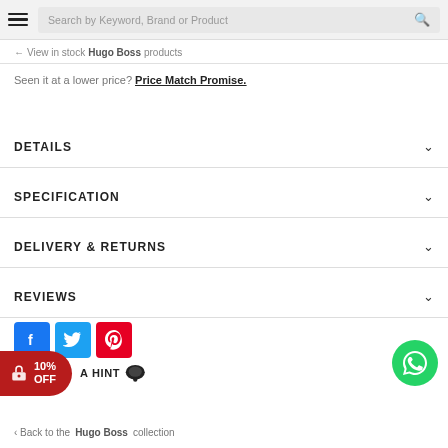Search by Keyword, Brand or Product
← View in stock Hugo Boss products
Seen it at a lower price? Price Match Promise.
DETAILS
SPECIFICATION
DELIVERY & RETURNS
REVIEWS
[Figure (infographic): Social share buttons: Facebook (blue), Twitter (light blue), Pinterest (red)]
[Figure (infographic): Green WhatsApp chat button (bottom right)]
[Figure (infographic): Red discount badge showing 10% OFF with gift icon, and 'A HINT' label with speech bubble]
< Back to the Hugo Boss collection